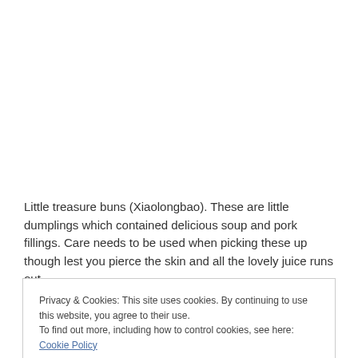Little treasure buns (Xiaolongbao).  These are little dumplings which contained delicious soup and pork fillings.  Care needs to be used when picking these up though lest you pierce the skin and all the lovely juice runs out.
Privacy & Cookies: This site uses cookies. By continuing to use this website, you agree to their use.
To find out more, including how to control cookies, see here: Cookie Policy
Close and accept